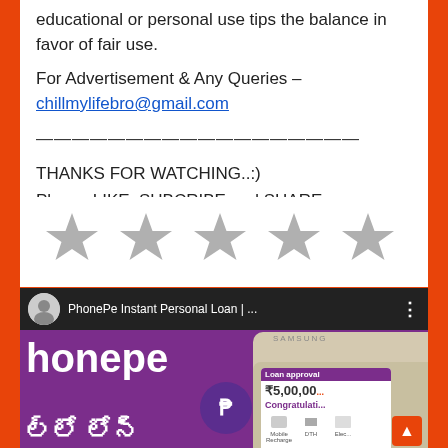educational or personal use tips the balance in favor of fair use.
For Advertisement & Any Queries – chillmylifebro@gmail.com
——————————————————
THANKS FOR WATCHING..:)
Please LIKE, SUBCRIBE and SHARE...
[Figure (other): Five grey star rating icons in a row]
[Figure (screenshot): YouTube video thumbnail for 'PhonePe Instant Personal Loan |...' showing PhonePe branding, Telugu text for loan, and a Samsung phone showing loan approval of ₹5,00,00 with Congratulations message]